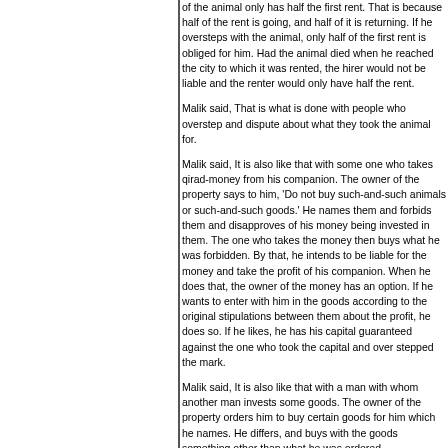of the animal only has half the first rent. That is because half of the rent is going, and half of it is returning. If he oversteps with the animal, only half of the first rent is obliged for him. Had the animal died when he reached the city to which it was rented, the hirer would not be liable and the renter would only have half the rent.
Malik said, That is what is done with people who overstep and dispute about what they took the animal for.
Malik said, It is also like that with some one who takes qirad-money from his companion. The owner of the property says to him, 'Do not buy such-and-such animals or such-and-such goods.' He names them and forbids them and disapproves of his money being invested in them. The one who takes the money then buys what he was forbidden. By that, he intends to be liable for the money and take the profit of his companion. When he does that, the owner of the money has an option. If he wants to enter with him in the goods according to the original stipulations between them about the profit, he does so. If he likes, he has his capital guaranteed against the one who took the capital and over stepped the mark.
Malik said, It is also like that with a man with whom another man invests some goods. The owner of the property orders him to buy certain goods for him which he names. He differs, and buys with the goods something other than what he was ordered